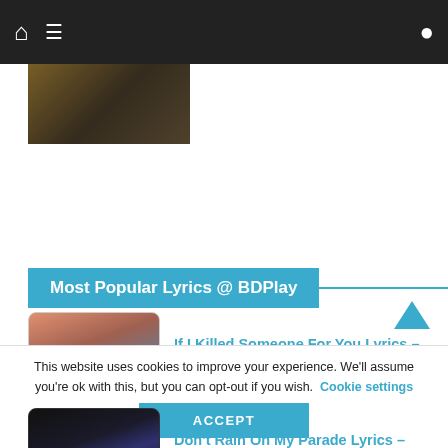Navigation bar with home, menu, and search icons
[Figure (screenshot): Small thumbnail image at top left, dark background with warm tones]
Most Popular Lyrics @ BDPlay
If I Killed Someone For You Lyrics – Alec Benjamin
Don't Rain On My Parade Lyrics – Barbra...
Kings & Queens Lyrics – Ava Max
This website uses cookies to improve your experience. We'll assume you're ok with this, but you can opt-out if you wish.  Cookie settings  ACCEPT